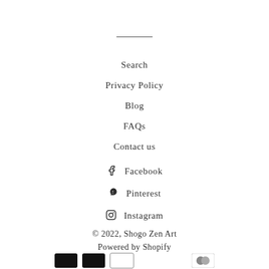Search
Privacy Policy
Blog
FAQs
Contact us
Facebook
Pinterest
Instagram
© 2022, Shogo Zen Art
Powered by Shopify